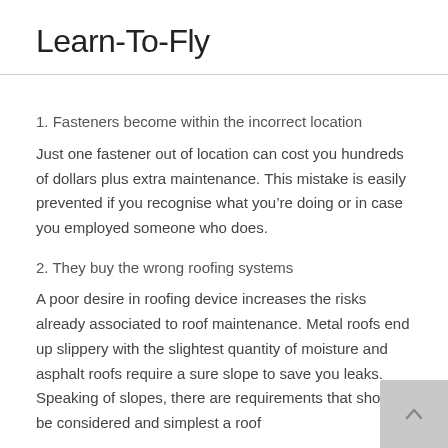Learn-To-Fly
1. Fasteners become within the incorrect location
Just one fastener out of location can cost you hundreds of dollars plus extra maintenance. This mistake is easily prevented if you recognise what you're doing or in case you employed someone who does.
2. They buy the wrong roofing systems
A poor desire in roofing device increases the risks already associated to roof maintenance. Metal roofs end up slippery with the slightest quantity of moisture and asphalt roofs require a sure slope to save you leaks. Speaking of slopes, there are requirements that should be considered and simplest a roof